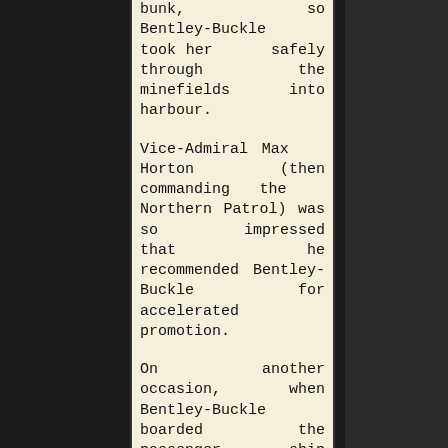bunk, so Bentley-Buckle took her safely through the minefields into harbour.

Vice-Admiral Max Horton (then commanding the Northern Patrol) was so impressed that he recommended Bentley-Buckle for accelerated promotion.

On another occasion, when Bentley-Buckle boarded the passenger ship Drottingholm, he puffed out his chest and put his cap at a jaunty angle, only to be greeted by an American